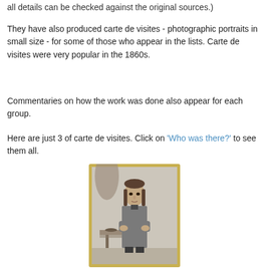all details can be checked against the original sources.)
They have also produced carte de visites - photographic portraits in small size - for some of those who appear in the lists. Carte de visites were very popular in the 1860s.
Commentaries on how the work was done also appear for each group.
Here are just 3 of carte de visites. Click on ‘Who was there?’ to see them all.
[Figure (photo): Sepia/black-and-white carte de visite portrait photograph of a man with long hair, arms crossed, standing next to a small table, wearing a long coat. The photo is mounted on a yellow-gold card.]